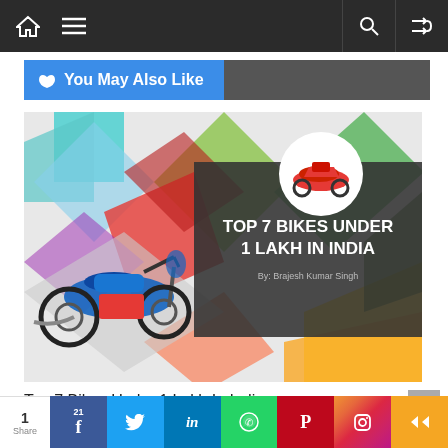Navigation bar with home, menu, search and shuffle icons
👍 You May Also Like
[Figure (infographic): Colorful diamond-pattern background with a blue motorcycle illustration on the left and a dark banner on the right reading 'TOP 7 BIKES UNDER 1 LAKH IN INDIA' with a red sport bike in a white circle at the top. Author: By: Brajesh Kumar Singh]
Top 7 Bikes Under 1 Lakh In India
Share bar with Facebook (21), Twitter, LinkedIn, WhatsApp, Pinterest, Instagram, More